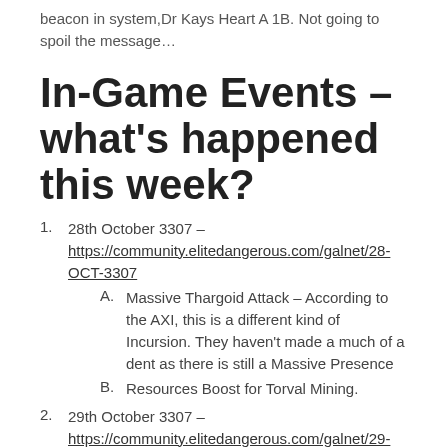beacon in system,Dr Kays Heart A 1B. Not going to spoil the message…
In-Game Events – what's happened this week?
1. 28th October 3307 – https://community.elitedangerous.com/galnet/28-OCT-3307
A. Massive Thargoid Attack – According to the AXI, this is a different kind of Incursion. They haven't made a much of a dent as there is still a Massive Presence
B. Resources Boost for Torval Mining.
2. 29th October 3307 – https://community.elitedangerous.com/galnet/29-OCT-3307
A. Initial Stage of Colonia Bridge Operational –